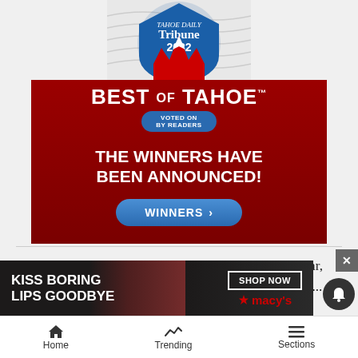[Figure (advertisement): Tribune 2022 Best of Tahoe advertisement banner. Red background with mountain/tree silhouettes, 'BEST OF TAHOE' in large white text, 'VOTED ON BY READERS' badge, 'THE WINNERS HAVE BEEN ANNOUNCED!' text, and a blue 'WINNERS >' button.]
Additionally, if the board approves the consent calendar, General Manager Indra Winquest will receive... discus... ng.
[Figure (advertisement): Macy's ad overlay: 'KISS BORING LIPS GOODBYE' with 'SHOP NOW' button and Macy's star logo on dark background with woman's photo.]
Home   Trending   Sections